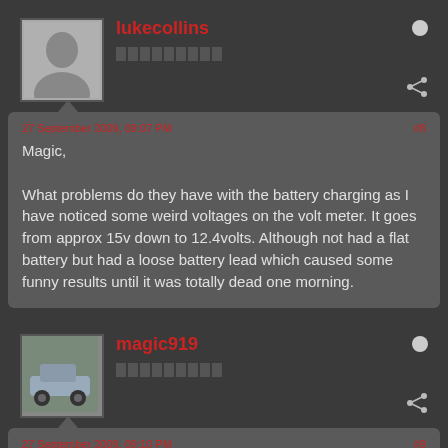lukecollins
27 September 2009, 09:07 PM
#8
Magic,

What problems do they have with the battery charging as I have noticed some weird voltages on the volt meter. It goes from approx 15v down to 12.4volts. Although not had a flat battery but had a loose battery lead which caused some funny results until it was totally dead one morning.
magic919
27 September 2009, 09:10 PM
#9